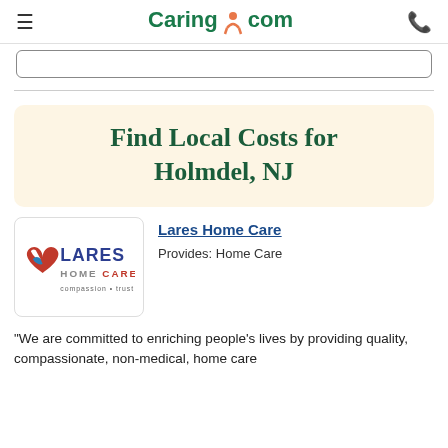Caring.com
[Figure (screenshot): Partial search input box visible at top]
Find Local Costs for Holmdel, NJ
[Figure (logo): Lares Home Care logo with heart and flag design]
Lares Home Care
Provides: Home Care
"We are committed to enriching people's lives by providing quality, compassionate, non-medical, home care